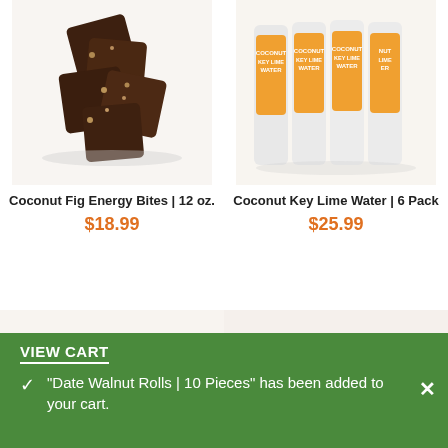[Figure (photo): Coconut Fig Energy Bites product photo - dark brown energy bite squares with nuts]
[Figure (photo): Coconut Key Lime Water product photo - four white bottles with orange labels]
Coconut Fig Energy Bites | 12 oz.
$18.99
Coconut Key Lime Water | 6 Pack
$25.99
[Figure (photo): White coconut-coated date walnut rolls]
[Figure (photo): Dark chocolate covered date walnut rolls]
VIEW CART
“Date Walnut Rolls | 10 Pieces” has been added to your cart.